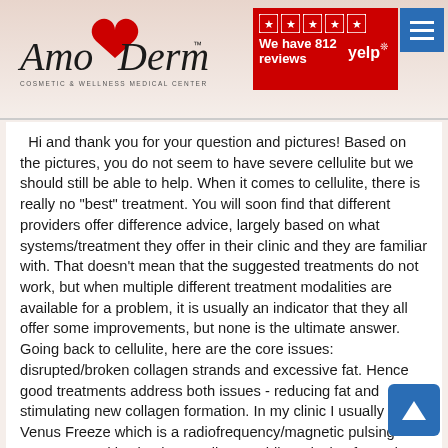[Figure (logo): AmoDerm Cosmetic & Wellness Medical Center logo with red heart graphic]
[Figure (other): Yelp badge showing 5 stars and 812 reviews]
Hi and thank you for your question and pictures! Based on the pictures, you do not seem to have severe cellulite but we should still be able to help. When it comes to cellulite, there is really no "best" treatment. You will soon find that different providers offer difference advice, largely based on what systems/treatment they offer in their clinic and they are familiar with. That doesn't mean that the suggested treatments do not work, but when multiple different treatment modalities are available for a problem, it is usually an indicator that they all offer some improvements, but none is the ultimate answer. Going back to cellulite, here are the core issues: disrupted/broken collagen strands and excessive fat. Hence good treatments address both issues - reducing fat and stimulating new collagen formation. In my clinic I usually use Venus Freeze which is a radiofrequency/magnetic pulsing treatment and it stimulates collagen while reducing fat and many of my patients see good improvements after a series of 6-10